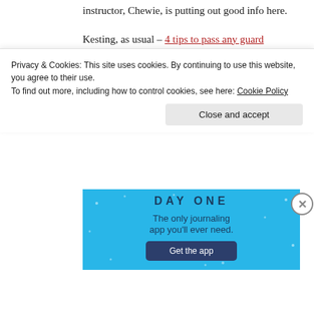instructor, Chewie, is putting out good info here.
Kesting, as usual – 4 tips to pass any guard
Some good gripfighting stuff from Kesting
Saulo Ribeiro – Guard Passing
Ryan Hall looks to have a LOT of good material.
[Figure (screenshot): Day One journaling app advertisement banner with blue background showing 'The only journaling app you'll ever need.' and a 'Get the app' button]
Privacy & Cookies: This site uses cookies. By continuing to use this website, you agree to their use.
To find out more, including how to control cookies, see here: Cookie Policy
Close and accept